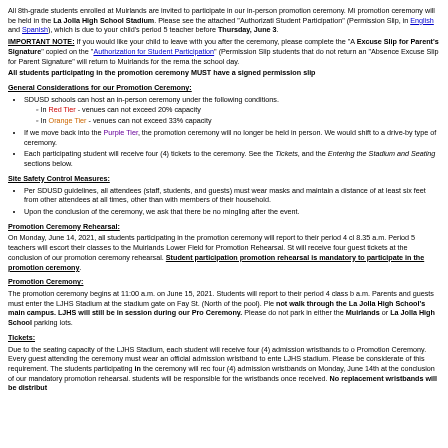All 8th-grade students enrolled at Muirlands are invited to participate in our in-person promotion ceremony. Mi promotion ceremony will be held in the La Jolla High School Stadium. Please see the attached "Authorization Student Participation" (Permission Slip, in English and Spanish), which is due to your child's period 5 teacher before Thursday, June 3.
IMPORTANT NOTE: If you would like your child to leave with you after the ceremony, please complete the "A Excuse Slip for Parent's Signature" copied on the "Authorization for Student Participation" (Permission Slip students that do not return an "Absence Excuse Slip for Parent Signature" will return to Muirlands for the rema the school day.
All students participating in the promotion ceremony MUST have a signed permission slip
General Considerations for our Promotion Ceremony:
SDUSD schools can host an in-person ceremony under the following conditions.
In Red Tier - venues can not exceed 20% capacity
In Orange Tier - venues can not exceed 33% capacity
If we move back into the Purple Tier, the promotion ceremony will no longer be held in person. We would shift to a drive-by type of ceremony.
Each participating student will receive four (4) tickets to the ceremony. See the Tickets, and the Entering the Stadium and Seating sections below.
Site Safety Control Measures:
Per SDUSD guidelines, all attendees (staff, students, and guests) must wear masks and maintain a distance of at least six feet from other attendees at all times, other than with members of their household.
Upon the conclusion of the ceremony, we ask that there be no mingling after the event.
Promotion Ceremony Rehearsal:
On Monday, June 14, 2021, all students participating in the promotion ceremony will report to their period 4 cl 8.35 a.m. Period 5 teachers will escort their classes to the Muirlands Lower Field for Promotion Rehearsal. St will receive four guest tickets at the conclusion of our promotion ceremony rehearsal. Student participation promotion rehearsal is mandatory to participate in the promotion ceremony.
Promotion Ceremony:
The promotion ceremony begins at 11:00 a.m. on June 15, 2021. Students will report to their period 4 class b a.m. Parents and guests must enter the LJHS Stadium at the stadium gate on Fay St. (North of the pool). Ple not walk through the La Jolla High School's main campus. LJHS will still be in session during our Pro Ceremony. Please do not park in either the Muirlands or La Jolla High School parking lots.
Tickets:
Due to the seating capacity of the LJHS Stadium, each student will receive four (4) admission wristbands to o Promotion Ceremony. Every guest attending the ceremony must wear an official admission wristband to ente LJHS stadium. Please be considerate of this requirement. The students participating in the ceremony will rec four (4) admission wristbands on Monday, June 14th at the conclusion of our mandatory promotion rehearsal. students will be responsible for the wristbands once received. No replacement wristbands will be distribut